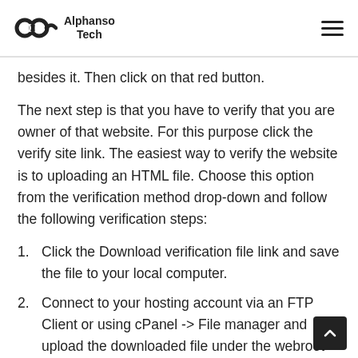Alphanso Tech
besides it. Then click on that red button.
The next step is that you have to verify that you are owner of that website. For this purpose click the verify site link. The easiest way to verify the website is to uploading an HTML file. Choose this option from the verification method drop-down and follow the following verification steps:
Click the Download verification file link and save the file to your local computer.
Connect to your hosting account via an FTP Client or using cPanel -> File manager and upload the downloaded file under the webroot directory (most commonly public_html) for your domain name.